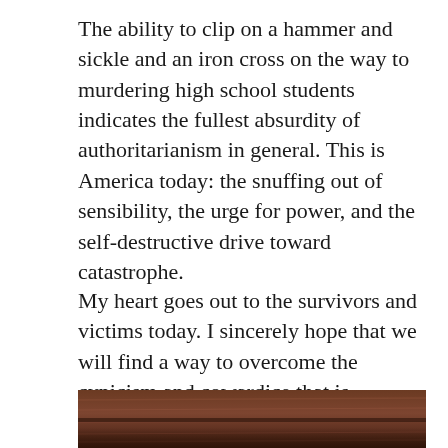The ability to clip on a hammer and sickle and an iron cross on the way to murdering high school students indicates the fullest absurdity of authoritarianism in general. This is America today: the snuffing out of sensibility, the urge for power, and the self-destructive drive toward catastrophe.
My heart goes out to the survivors and victims today. I sincerely hope that we will find a way to overcome the cynicism and cowardice that is destroying us. I wish we could reach out to people and reconnect with humanity, sensitivity, and love.
[Figure (photo): Bottom portion of a photograph showing a dark wooden surface or furniture, cropped at the bottom of the page.]